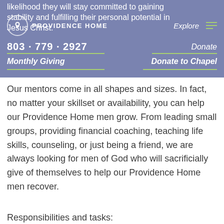likelihood they will stay committed to gaining stability and fulfilling their personal potential in Jesus Christ. | PROVIDENCE HOME | 803 · 779 · 2927 | Explore | Donate | Monthly Giving | Donate to Chapel
Our mentors come in all shapes and sizes. In fact, no matter your skillset or availability, you can help our Providence Home men grow. From leading small groups, providing financial coaching, teaching life skills, counseling, or just being a friend, we are always looking for men of God who will sacrificially give of themselves to help our Providence Home men recover.
Responsibilities and tasks: